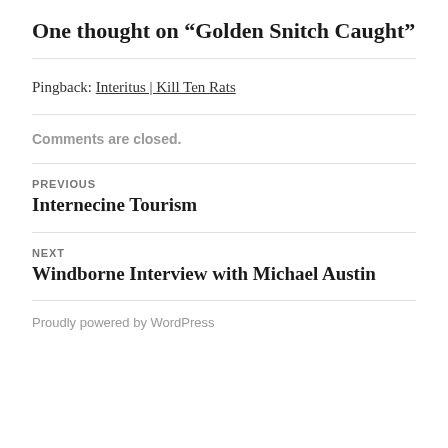One thought on “Golden Snitch Caught”
Pingback: Interitus | Kill Ten Rats
Comments are closed.
PREVIOUS
Internecine Tourism
NEXT
Windborne Interview with Michael Austin
Proudly powered by WordPress